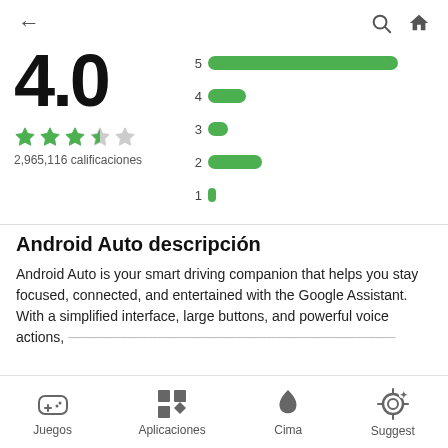← (back) | search | home
[Figure (bar-chart): Rating distribution]
4.0
★★★☆☆ 2,965,116 calificaciones
Android Auto descripción
Android Auto is your smart driving companion that helps you stay focused, connected, and entertained with the Google Assistant. With a simplified interface, large buttons, and powerful voice actions,
Juegos | Aplicaciones | Cima | Suggest